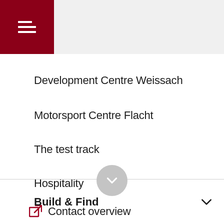Development Centre Weissach
Motorsport Centre Flacht
The test track
Hospitality
Contact overview
Archive
Build & Find